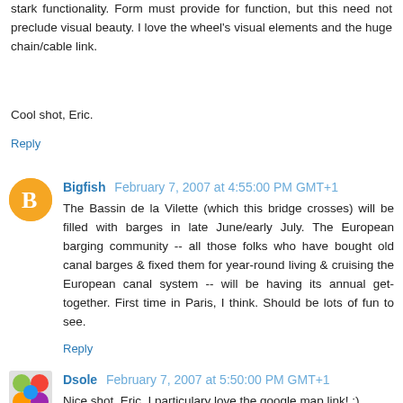stark functionality. Form must provide for function, but this need not preclude visual beauty. I love the wheel's visual elements and the huge chain/cable link.
Cool shot, Eric.
Reply
Bigfish February 7, 2007 at 4:55:00 PM GMT+1
The Bassin de la Vilette (which this bridge crosses) will be filled with barges in late June/early July. The European barging community -- all those folks who have bought old canal barges & fixed them for year-round living & cruising the European canal system -- will be having its annual get-together. First time in Paris, I think. Should be lots of fun to see.
Reply
Dsole February 7, 2007 at 5:50:00 PM GMT+1
Nice shot, Eric. I particulary love the google map link! :)